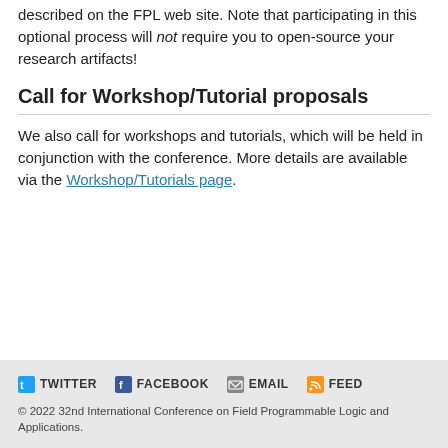described on the FPL web site. Note that participating in this optional process will not require you to open-source your research artifacts!
Call for Workshop/Tutorial proposals
We also call for workshops and tutorials, which will be held in conjunction with the conference. More details are available via the Workshop/Tutorials page.
TWITTER  FACEBOOK  EMAIL  FEED
© 2022 32nd International Conference on Field Programmable Logic and Applications.